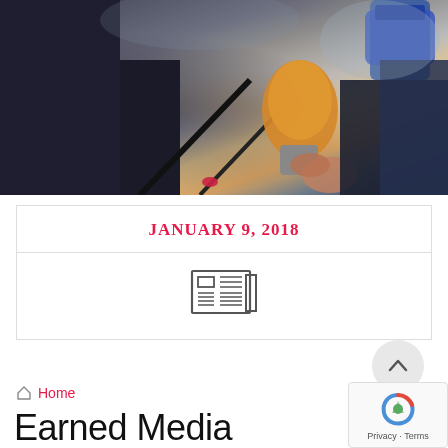[Figure (photo): Journalists holding microphones and recording equipment during a press interview or media event, shot outdoors with blurred background.]
JANUARY 9, 2018
[Figure (other): Newspaper/article icon representing media content]
Home
Earned Media